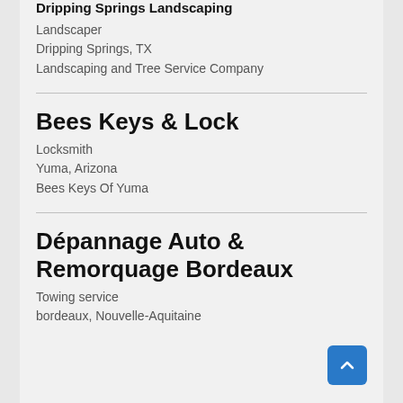Dripping Springs Landscaping
Landscaper
Dripping Springs, TX
Landscaping and Tree Service Company
Bees Keys & Lock
Locksmith
Yuma, Arizona
Bees Keys Of Yuma
Dépannage Auto & Remorquage Bordeaux
Towing service
bordeaux, Nouvelle-Aquitaine